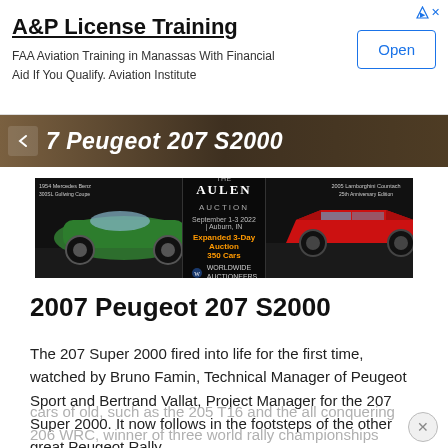A&P License Training — FAA Aviation Training in Manassas With Financial Aid If You Qualify. Aviation Institute [Open button ad]
[Figure (screenshot): Dark header bar with text '7 Peugeot 207 S2000' and a back arrow chevron on the left]
[Figure (photo): Auction advertisement banner showing a green vintage Mercedes on the left, auction details in center (The AULEN Auction, September 1-3 2022, Auburn, IN, Expanded 3-Day Auction, 350 Cars, Worldwide Auctioneers), and a red Lamborghini Countach on the right]
2007 Peugeot 207 S2000
The 207 Super 2000 fired into life for the first time, watched by Bruno Famin, Technical Manager of Peugeot Sport and Bertrand Vallat, Project Manager for the 207 Super 2000. It now follows in the footsteps of the other great Peugeot Rally
cars of old, such as the 205 T16 and the all conquering 206 WRC, winner of three world rally championships and a total of